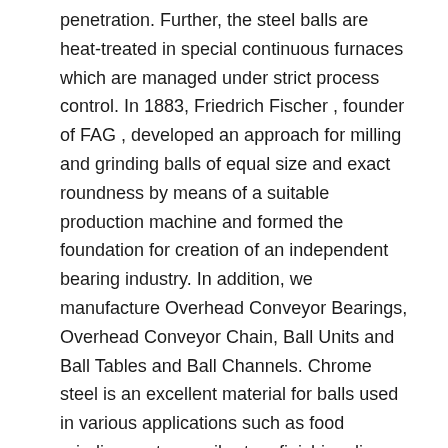penetration. Further, the steel balls are heat-treated in special continuous furnaces which are managed under strict process control. In 1883, Friedrich Fischer , founder of FAG , developed an approach for milling and grinding balls of equal size and exact roundness by means of a suitable production machine and formed the foundation for creation of an independent bearing industry. In addition, we manufacture Overhead Conveyor Bearings, Overhead Conveyor Chain, Ball Units and Ball Tables and Ball Channels. Chrome steel is an excellent material for balls used in various applications such as food grinding systems, vibratory finishing, linear motion components, and check valves. Steel ball bearings are commonly used in commercial and industrial environments. Hartford Technologies is a multinational supplier of chrome steel balls for applications including automotive steering and seating systems, industrial machinery and bearings, pumps, valves and agricultural equipment. By lightly carburizing the steel balls, additional work such as drilling and welding